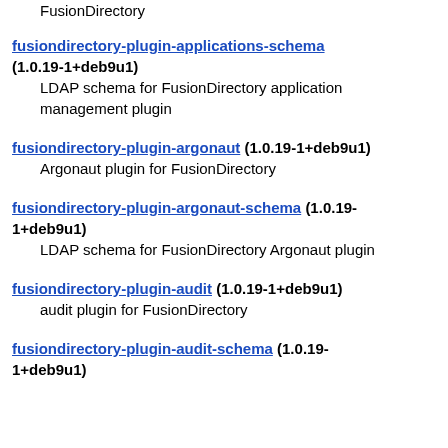FusionDirectory
fusiondirectory-plugin-applications-schema (1.0.19-1+deb9u1)
LDAP schema for FusionDirectory application management plugin
fusiondirectory-plugin-argonaut (1.0.19-1+deb9u1)
Argonaut plugin for FusionDirectory
fusiondirectory-plugin-argonaut-schema (1.0.19-1+deb9u1)
LDAP schema for FusionDirectory Argonaut plugin
fusiondirectory-plugin-audit (1.0.19-1+deb9u1)
audit plugin for FusionDirectory
fusiondirectory-plugin-audit-schema (1.0.19-1+deb9u1)